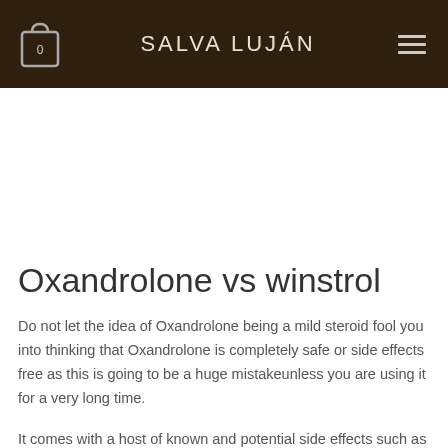SALVA LUJÁN
Oxandrolone vs winstrol
Do not let the idea of Oxandrolone being a mild steroid fool you into thinking that Oxandrolone is completely safe or side effects free as this is going to be a huge mistakeunless you are using it for a very long time.
It comes with a host of known and potential side effects such as liver (alcoholic) issues